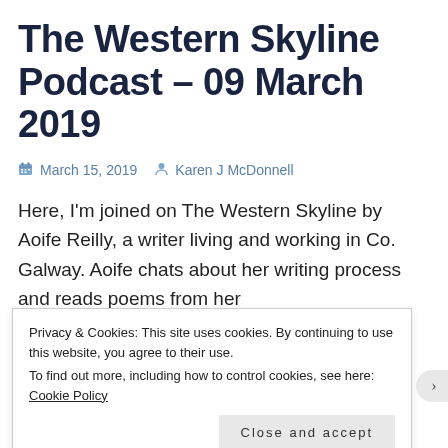The Western Skyline Podcast – 09 March 2019
March 15, 2019  Karen J McDonnell
Here, I'm joined on The Western Skyline by Aoife Reilly, a writer living and working in Co. Galway. Aoife chats about her writing process and reads poems from her
Privacy & Cookies: This site uses cookies. By continuing to use this website, you agree to their use.
To find out more, including how to control cookies, see here: Cookie Policy
Close and accept